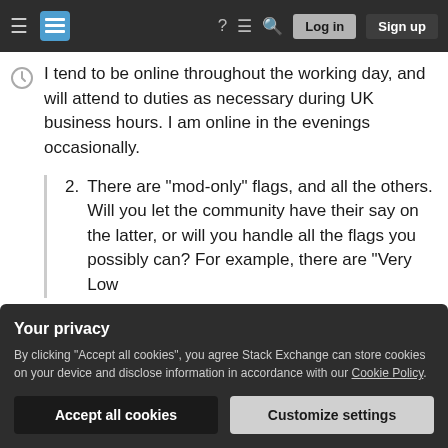Stack Exchange navigation bar with hamburger menu, logo, help, chat, search icons, Log in and Sign up buttons
I tend to be online throughout the working day, and will attend to duties as necessary during UK business hours. I am online in the evenings occasionally.
2. There are "mod-only" flags, and all the others. Will you let the community have their say on the latter, or will you handle all the flags you possibly can? For example, there are "Very Low
Your privacy
By clicking "Accept all cookies", you agree Stack Exchange can store cookies on your device and disclose information in accordance with our Cookie Policy.
Accept all cookies   Customize settings
I am specifically speaking of those situations where...